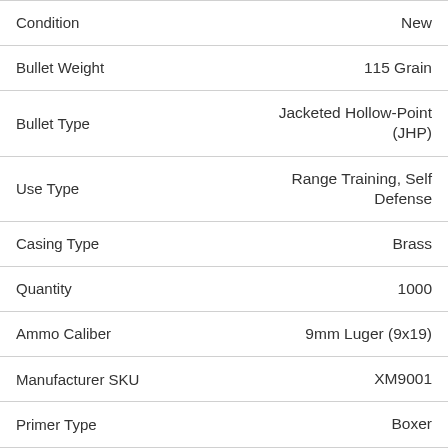| Attribute | Value |
| --- | --- |
| Condition | New |
| Bullet Weight | 115 Grain |
| Bullet Type | Jacketed Hollow-Point (JHP) |
| Use Type | Range Training, Self Defense |
| Casing Type | Brass |
| Quantity | 1000 |
| Ammo Caliber | 9mm Luger (9x19) |
| Manufacturer SKU | XM9001 |
| Primer Type | Boxer |
| Muzzle Velocity | 1225 |
| UPC Barcode | 50029465085808 |